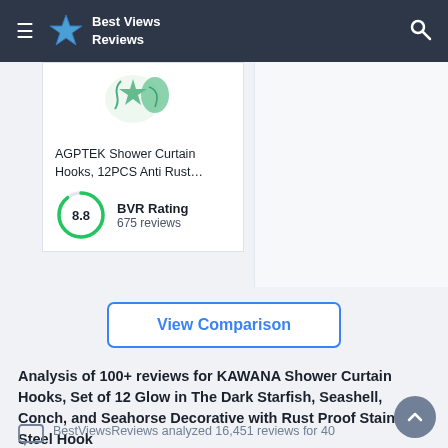Best Views Reviews
[Figure (screenshot): Product image of AGPTEK Shower Curtain Hooks with decorative marine motifs]
AGPTEK Shower Curtain Hooks, 12PCS Anti Rust...
BVR Rating 675 reviews 8.8
View Comparison
Analysis of 100+ reviews for KAWANA Shower Curtain Hooks, Set of 12 Glow in The Dark Starfish, Seashell, Conch, and Seahorse Decorative with Rust Proof Stainless Steel Hook
BestViewsReviews analyzed 16,451 reviews for 40